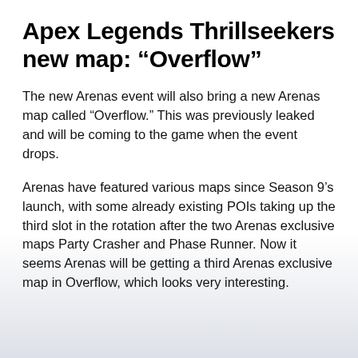Apex Legends Thrillseekers new map: “Overflow”
The new Arenas event will also bring a new Arenas map called “Overflow.” This was previously leaked and will be coming to the game when the event drops.
Arenas have featured various maps since Season 9’s launch, with some already existing POIs taking up the third slot in the rotation after the two Arenas exclusive maps Party Crasher and Phase Runner. Now it seems Arenas will be getting a third Arenas exclusive map in Overflow, which looks very interesting.